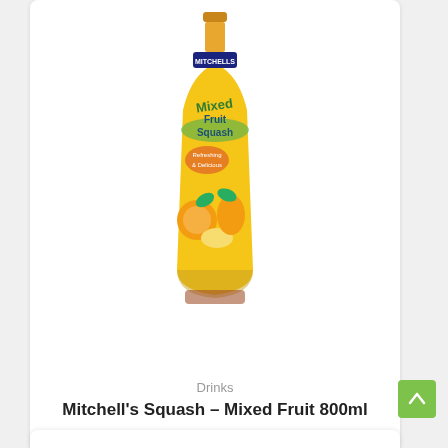[Figure (photo): A bottle of Mitchell's Mixed Fruit Squash 800ml with yellow label featuring mixed fruit imagery (orange, mango, lemon) and a green MITCHELLS header label]
Drinks
Mitchell's Squash – Mixed Fruit 800ml
$4.95